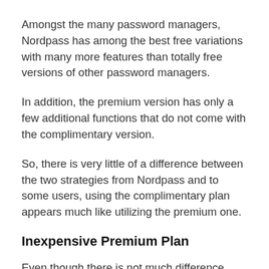Amongst the many password managers, Nordpass has among the best free variations with many more features than totally free versions of other password managers.
In addition, the premium version has only a few additional functions that do not come with the complimentary version.
So, there is very little of a difference between the two strategies from Nordpass and to some users, using the complimentary plan appears much like utilizing the premium one.
Inexpensive Premium Plan
Even though there is not much difference between the premium and the totally free variations, but some individuals still require